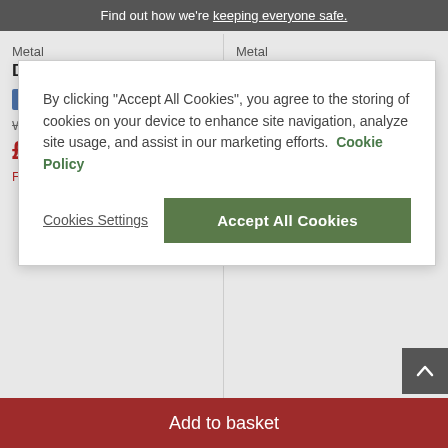Find out how we're keeping everyone safe.
By clicking "Accept All Cookies", you agree to the storing of cookies on your device to enhance site navigation, analyze site usage, and assist in our marketing efforts. Cookie Policy
Cookies Settings
Accept All Cookies
Metal
Double Wardrobe
7 DAY DELIVERY*
Was: £849.99
£779.99
Finance from £20 p/m*
Metal
Small Bookcase
7 DAY DELIVERY*
After Sale Price: £479.99
£424.99
Finance from £11 p/m*
Minimum basket spend of £50
Add to basket